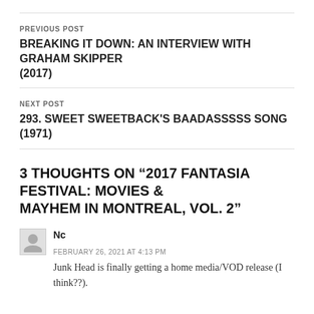PREVIOUS POST
BREAKING IT DOWN: AN INTERVIEW WITH GRAHAM SKIPPER (2017)
NEXT POST
293. SWEET SWEETBACK'S BAADASSSSS SONG (1971)
3 THOUGHTS ON “2017 FANTASIA FESTIVAL: MOVIES & MAYHEM IN MONTREAL, VOL. 2”
Nc
FEBRUARY 26, 2021 AT 4:13 PM
Junk Head is finally getting a home media/VOD release (I think??).